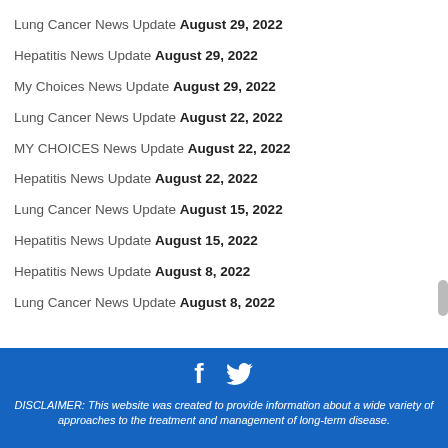Lung Cancer News Update August 29, 2022
Hepatitis News Update August 29, 2022
My Choices News Update August 29, 2022
Lung Cancer News Update August 22, 2022
MY CHOICES News Update August 22, 2022
Hepatitis News Update August 22, 2022
Lung Cancer News Update August 15, 2022
Hepatitis News Update August 15, 2022
Hepatitis News Update August 8, 2022
Lung Cancer News Update August 8, 2022
DISCLAIMER: This website was created to provide information about a wide variety of approaches to the treatment and management of long-term disease.